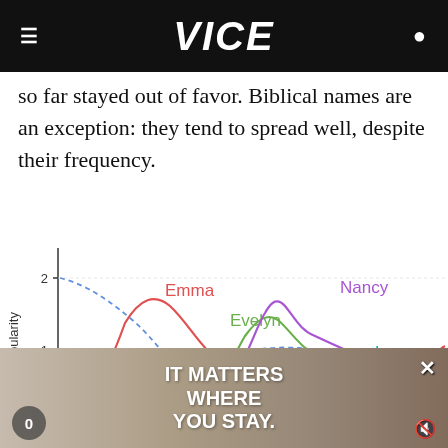VICE
so far stayed out of favor. Biblical names are an exception: they tend to spread well, despite their frequency.
[Figure (line-chart): Line chart showing popularity over time for names Emma, Evelyn, Nancy, Laura and others. Y-axis labeled Popularity with ticks at 1 and 2.]
[Figure (screenshot): Video ad overlay showing text IT MATTERS WHERE YOU STAY. with close button X, counter 0, and mute icon.]